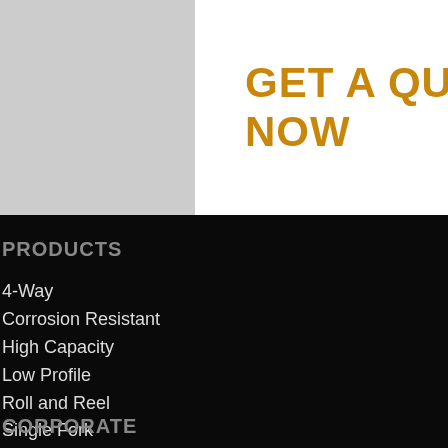GET A QUOTE NOW
PRODUCTS
4-Way
Corrosion Resistant
High Capacity
Low Profile
Roll and Reel
Single Fork
Size to Order
Skid Truck
Standard Height
CORPORATE